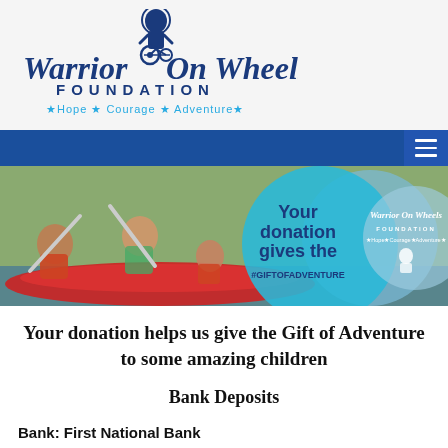[Figure (logo): Warrior On Wheels Foundation logo with text and tagline: Hope * Courage * Adventure *]
[Figure (photo): Website header navigation bar (dark blue) with hamburger menu icon on right]
[Figure (photo): Hero banner showing people in orange life vests kayaking on red inflatable raft, with overlaid circular graphics saying 'Your donation gives the #GIFTOFADVENTURE' and Warrior On Wheels Foundation logo]
Your donation helps us give the Gift of Adventure to some amazing children
Bank Deposits
Bank:  First National Bank